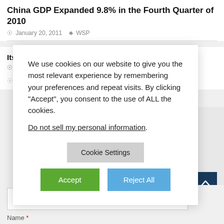China GDP Expanded 9.8% in the Fourth Quarter of 2010
January 20, 2011   WSP
Its Politics, Not Economics
December 1, 2010   Michael Pettis
We use cookies on our website to give you the most relevant experience by remembering your preferences and repeat visits. By clicking “Accept”, you consent to the use of ALL the cookies.

Do not sell my personal information.
Name *